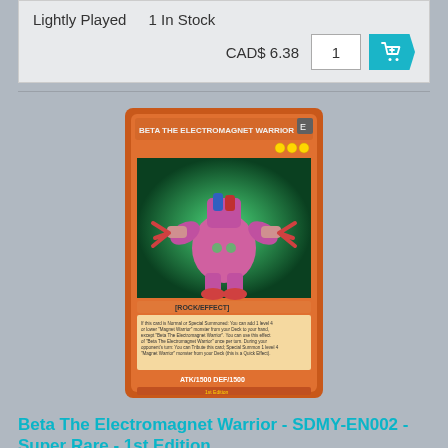Lightly Played    1 In Stock
CAD$ 6.38    1    [cart]
[Figure (photo): Yu-Gi-Oh! trading card: Beta The Electromagnet Warrior - SDMY-EN002 - Super Rare - 1st Edition. Card shows a pink/red robot creature with blue accents on a green energy background. Red/orange card border typical of Effect Monster cards.]
Beta The Electromagnet Warrior - SDMY-EN002 - Super Rare - 1st Edition
Near Mint    2 In Stock
CAD$ 6.88    1    [cart]